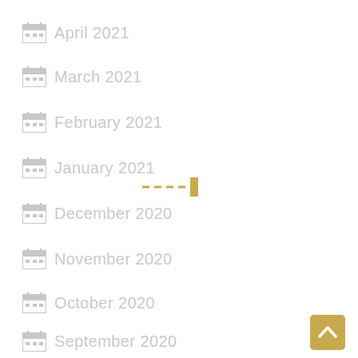April 2021
March 2021
February 2021
January 2021
December 2020
November 2020
October 2020
September 2020
[Figure (other): Gold/tan colored scroll-to-top button with chevron up arrow in bottom right corner]